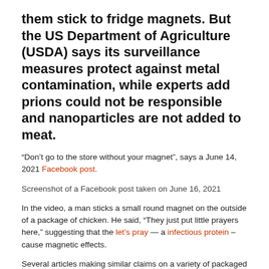them stick to fridge magnets. But the US Department of Agriculture (USDA) says its surveillance measures protect against metal contamination, while experts add prions could not be responsible and nanoparticles are not added to meat.
“Don’t go to the store without your magnet”, says a June 14, 2021 Facebook post.
Screenshot of a Facebook post taken on June 16, 2021
In the video, a man sticks a small round magnet on the outside of a package of chicken. He said, “They just put little prayers here,” suggesting that the let’s pray — a infectious protein – cause magnetic effects.
Several articles making similar claims on a variety of packaged